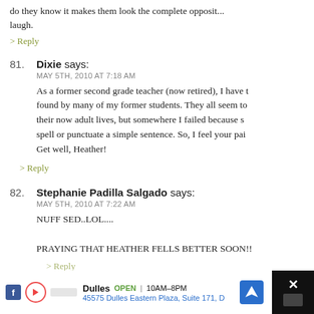do they know it makes them look the complete oppos... laugh.
> Reply
81. Dixie says: MAY 5TH, 2010 AT 7:18 AM
As a former second grade teacher (now retired), I have t... found by many of my former students. They all seem to... their now adult lives, but somewhere I failed because s... spell or punctuate a simple sentence. So, I feel your pai... Get well, Heather!
> Reply
82. Stephanie Padilla Salgado says: MAY 5TH, 2010 AT 7:22 AM
NUFF SED..LOL....
PRAYING THAT HEATHER FELLS BETTER SOON!!
> Reply